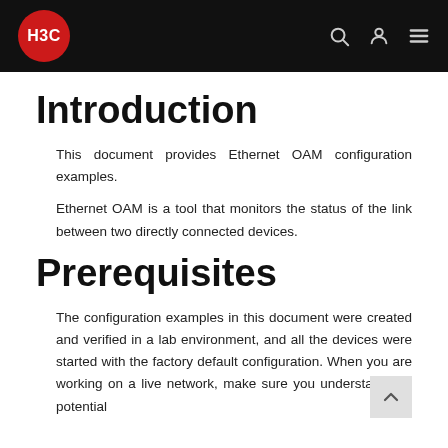H3C
Introduction
This document provides Ethernet OAM configuration examples.
Ethernet OAM is a tool that monitors the status of the link between two directly connected devices.
Prerequisites
The configuration examples in this document were created and verified in a lab environment, and all the devices were started with the factory default configuration. When you are working on a live network, make sure you understand the potential